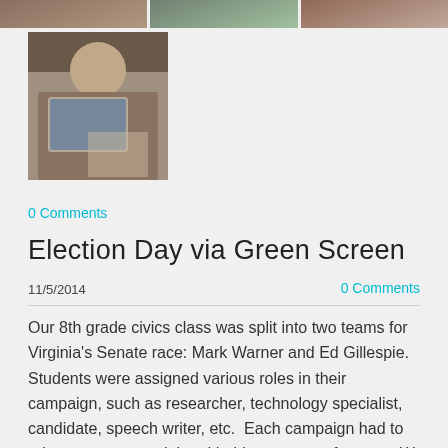[Figure (photo): Three cropped classroom photos shown as a strip at the top of the page]
[Figure (photo): Student using a tablet/laptop device at a desk, viewed from above and behind]
0 Comments
Election Day via Green Screen
11/5/2014
0 Comments
Our 8th grade civics class was split into two teams for Virginia's Senate race: Mark Warner and Ed Gillespie.  Students were assigned various roles in their campaign, such as researcher, technology specialist, candidate, speech writer, etc.  Each campaign had to release a commercial and hold a press conference.  We used a green screen ($18 from Amazon with the $7 clips and